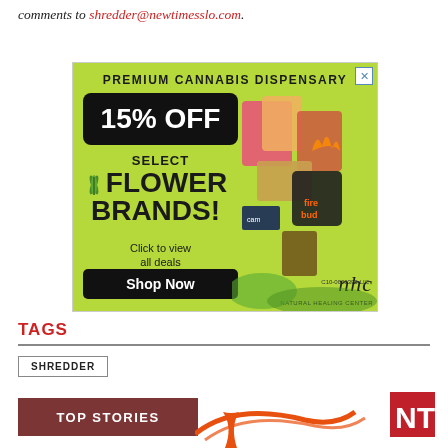comments to shredder@newtimesslo.com.
[Figure (illustration): Advertisement for Natural Healing Center cannabis dispensary. Green background showing 15% OFF SELECT FLOWER BRANDS with Shop Now button and NHC logo. License: C10-0000398-LIC.]
TAGS
SHREDDER
[Figure (logo): Top Stories section header with red button labeled TOP STORIES and New Times NT logo with orange swoosh graphic]